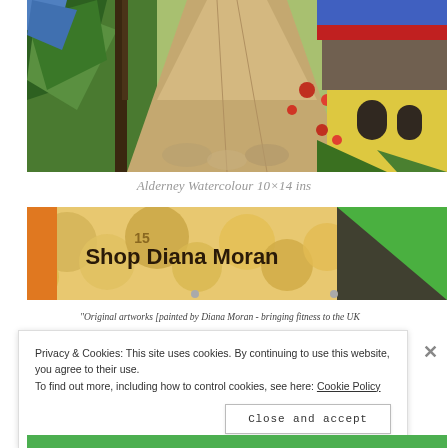[Figure (illustration): Watercolour painting of Alderney scene showing a stone path/lane with lush tropical-style foliage on the left and a yellow building with arched windows on the right, beneath a blue sky with red accent.]
Alderney Watercolour 10×14 ins
[Figure (illustration): Banner image for 'Shop Diana Moran' showing golden coins/tokens on the left half and a green triangle with dark brown background on the right half, with bold dark text 'Shop Diana Moran' overlaid.]
"Original artworks [painted by Diana Moran - bringing fitness to the UK since the 1980s. Diana has now launched her own on line gallery at
Privacy & Cookies: This site uses cookies. By continuing to use this website, you agree to their use.
To find out more, including how to control cookies, see here: Cookie Policy
Close and accept